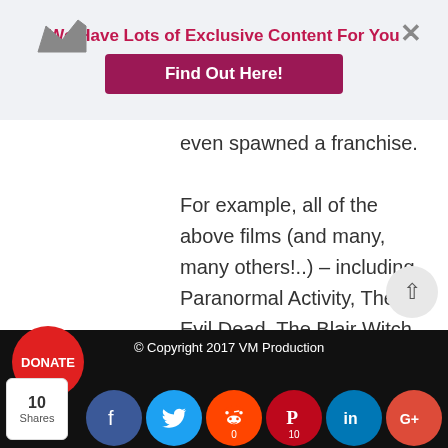We Have Lots of Exclusive Content For You | Find Out Here!
even spawned a franchise. For example, all of the above films (and many, many others!..) – including Paranormal Activity, The Evil Dead, The Blair Witch Project, Juno and Night of the Living Dead were all indie films that gained huge popularity in Hollywood and raked in millions. Imagine having your name connected to a film like that, although rare there's always the possibility of it happening.
© Copyright 2017 VM Production